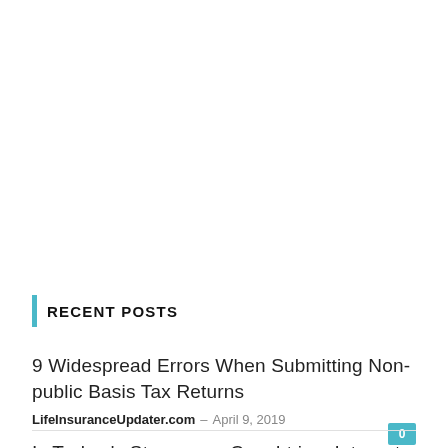RECENT POSTS
9 Widespread Errors When Submitting Non-public Basis Tax Returns
LifeInsuranceUpdater.com – April 9, 2019
Is Turkey's Strongman Caught in a Internet of His Personal Making?